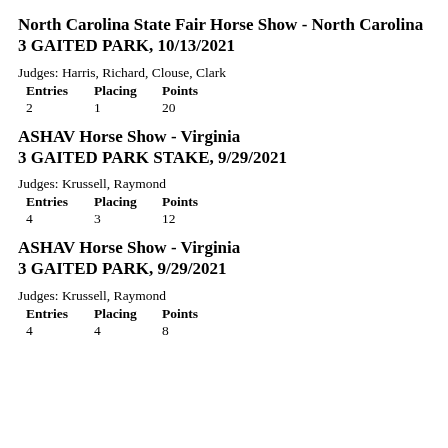North Carolina State Fair Horse Show - North Carolina
3 GAITED PARK, 10/13/2021
Judges: Harris, Richard, Clouse, Clark
| Entries | Placing | Points |
| --- | --- | --- |
| 2 | 1 | 20 |
ASHAV Horse Show - Virginia
3 GAITED PARK STAKE, 9/29/2021
Judges: Krussell, Raymond
| Entries | Placing | Points |
| --- | --- | --- |
| 4 | 3 | 12 |
ASHAV Horse Show - Virginia
3 GAITED PARK, 9/29/2021
Judges: Krussell, Raymond
| Entries | Placing | Points |
| --- | --- | --- |
| 4 | 4 | 8 |